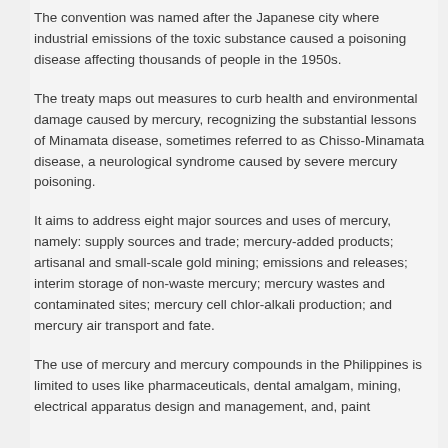The convention was named after the Japanese city where industrial emissions of the toxic substance caused a poisoning disease affecting thousands of people in the 1950s.
The treaty maps out measures to curb health and environmental damage caused by mercury, recognizing the substantial lessons of Minamata disease, sometimes referred to as Chisso-Minamata disease, a neurological syndrome caused by severe mercury poisoning.
It aims to address eight major sources and uses of mercury, namely: supply sources and trade; mercury-added products; artisanal and small-scale gold mining; emissions and releases; interim storage of non-waste mercury; mercury wastes and contaminated sites; mercury cell chlor-alkali production; and mercury air transport and fate.
The use of mercury and mercury compounds in the Philippines is limited to uses like pharmaceuticals, dental amalgam, mining, electrical apparatus design and management, and, paint